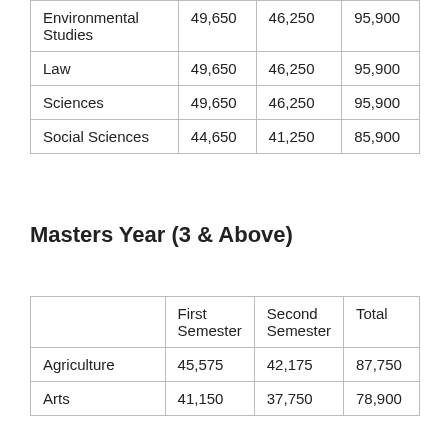|  | First Semester | Second Semester | Total |
| --- | --- | --- | --- |
| Environmental Studies | 49,650 | 46,250 | 95,900 |
| Law | 49,650 | 46,250 | 95,900 |
| Sciences | 49,650 | 46,250 | 95,900 |
| Social Sciences | 44,650 | 41,250 | 85,900 |
Masters Year (3 & Above)
|  | First Semester | Second Semester | Total |
| --- | --- | --- | --- |
| Agriculture | 45,575 | 42,175 | 87,750 |
| Arts | 41,150 | 37,750 | 78,900 |